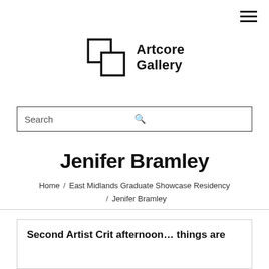[Figure (logo): Artcore Gallery logo with overlapping squares icon and text 'Artcore Gallery']
Search
Jenifer Bramley
Home / East Midlands Graduate Showcase Residency / Jenifer Bramley
Second Artist Crit afternoon… things are